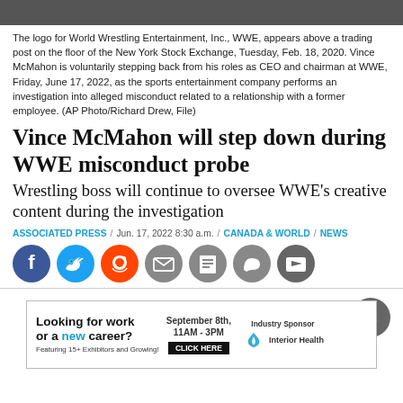[Figure (photo): Dark photo strip at top of page (WWE/NYSE trading floor image, partially visible)]
The logo for World Wrestling Entertainment, Inc., WWE, appears above a trading post on the floor of the New York Stock Exchange, Tuesday, Feb. 18, 2020. Vince McMahon is voluntarily stepping back from his roles as CEO and chairman at WWE, Friday, June 17, 2022, as the sports entertainment company performs an investigation into alleged misconduct related to a relationship with a former employee. (AP Photo/Richard Drew, File)
Vince McMahon will step down during WWE misconduct probe
Wrestling boss will continue to oversee WWE’s creative content during the investigation
ASSOCIATED PRESS / Jun. 17, 2022 8:30 a.m. / CANADA & WORLD / NEWS
[Figure (other): Row of social share buttons: Facebook, Twitter, Reddit, Email, Print, Comment, Image]
[Figure (other): Advertisement banner: Looking for work or a new career? Featuring 15+ Exhibitors and Growing! September 8th, 11AM-3PM. CLICK HERE. Industry Sponsor: Interior Health]